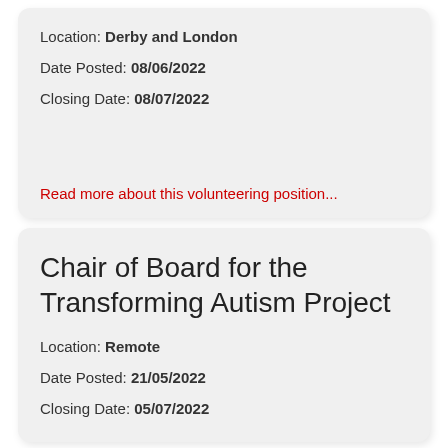Location: Derby and London
Date Posted: 08/06/2022
Closing Date: 08/07/2022
Read more about this volunteering position...
Chair of Board for the Transforming Autism Project
Location: Remote
Date Posted: 21/05/2022
Closing Date: 05/07/2022